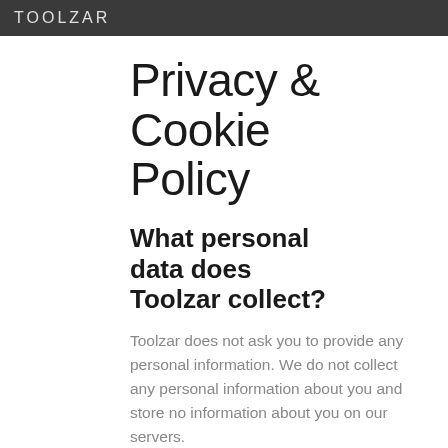TOOLZAR
Privacy & Cookie Policy
What personal data does Toolzar collect?
Toolzar does not ask you to provide any personal information. We do not collect any personal information about you and store no information about you on our servers.